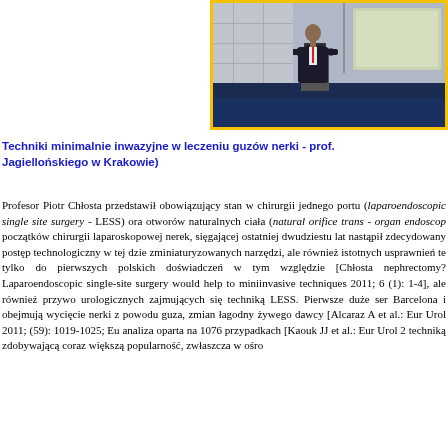[Figure (photo): Conference photo: person presenting at a podium with a screen in the background, yellow-bordered frame]
Techniki minimalnie inwazyjne w leczeniu guzów nerki - prof. Jagiellońskiego w Krakowie)
Profesor Piotr Chłosta przedstawił obowiązujący stan w chirurgii jednego portu (laparoendoscopic single site surgery - LESS) ora otworów naturalnych ciała (natural orifice trans - organ endoscop początków chirurgii laparoskopowej nerek, sięgającej ostatniej dwudziestu lat nastąpił zdecydowany postęp technologiczny w tej dzie zminiaturyzowanych narzędzi, ale również istotnych usprawnień te tylko do pierwszych polskich doświadczeń w tym względzie [Chłosta nephrectomy? Laparoendoscopic single-site surgery would help to miniinvasive techniques 2011; 6 (1): 1-4], ale również przywo urologicznych zajmujących się techniką LESS. Pierwsze duże ser Barcelona i obejmują wycięcie nerki z powodu guza, zmian łagodny żywego dawcy [Alcaraz A et al.: Eur Urol 2011; (59): 1019-1025; Eu analiza oparta na 1076 przypadkach [Kaouk JJ et al.: Eur Urol 2 techniką zdobywającą coraz większą popularność, zwłaszcza w ośro